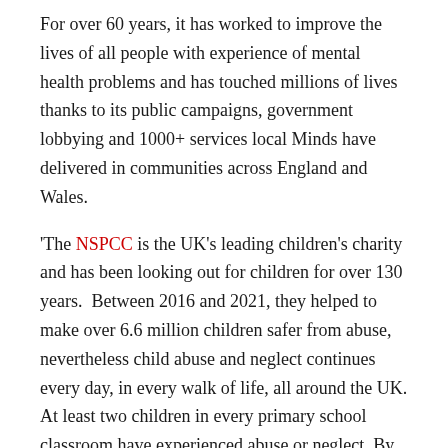For over 60 years, it has worked to improve the lives of all people with experience of mental health problems and has touched millions of lives thanks to its public campaigns, government lobbying and 1000+ services local Minds have delivered in communities across England and Wales.
'The NSPCC is the UK's leading children's charity and has been looking out for children for over 130 years.  Between 2016 and 2021, they helped to make over 6.6 million children safer from abuse, nevertheless child abuse and neglect continues every day, in every walk of life, all around the UK. At least two children in every primary school classroom have experienced abuse or neglect. By the time they turn 18, that number rises to at least 4.
'From assisting charities, both big and small, to raise funds and awareness, to serving emergency services on the front line, RRT steps in to lend a helping hand. The charity's support